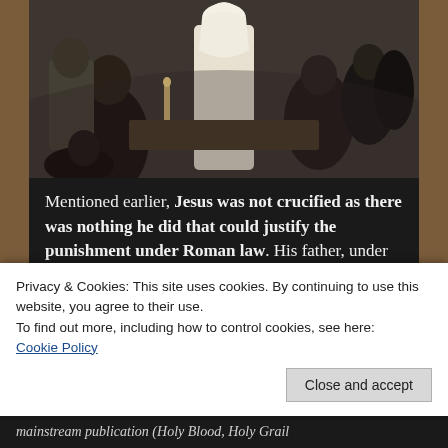[Figure (photo): A scene depicting Jesus in white robes standing before figures in dark robes and armor, in a dim stone setting reminiscent of a medieval trial scene.]
Mentioned earlier, Jesus was not crucified as there was nothing he did that could justify the punishment under Roman law.  His father, under the pseudonym Barabbas, may have gone through a ceremonial or mock crucifixion. Perhaps others followed suit, such as Simon of Cyrene, to honour the event. Ambiguous Turin
Privacy & Cookies: This site uses cookies. By continuing to use this website, you agree to their use.
To find out more, including how to control cookies, see here:
Cookie Policy
Close and accept
mainstream publication (Holy Blood, Holy Grail